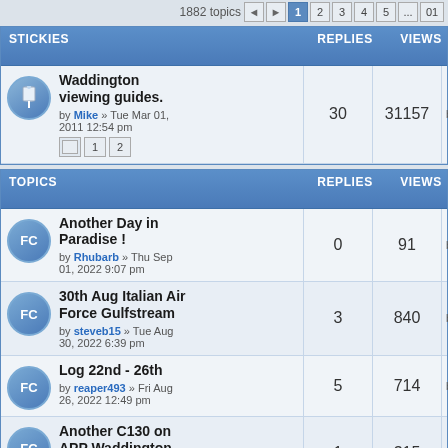1882 topics  1 2 3 4 5 ... 01
| STICKIES | REPLIES | VIEWS | LAST POST |
| --- | --- | --- | --- |
| Waddington viewing guides. by Mike » Tue Mar 01, 2011 12:54 pm | 30 | 31157 | by 65thAg... Fri Oct 01, |
| TOPICS | REPLIES | VIEWS | LAST POST |
| --- | --- | --- | --- |
| Another Day in Paradise ! by Rhubarb » Thu Sep 01, 2022 9:07 pm | 0 | 91 | by Rhubar... Thu Sep 0... |
| 30th Aug Italian Air Force Gulfstream by steveb15 » Tue Aug 30, 2022 6:39 pm | 3 | 840 | by POL... Thu Sep 0... |
| Log 22nd - 26th by reaper493 » Fri Aug 26, 2022 12:49 pm | 5 | 714 | by JLewis... Sun Aug 2... |
| Another C130 on APP Waddington by Steveknight41 » Fri Aug 26, 2022 11:44 am | 1 | 315 | by reaper4... Fri Aug 26, |
| C-130 on approach by Steveknight41 » Wed Aug 24, 2022 | 2 | 401 | by reaper4... Wed Aug 2... |